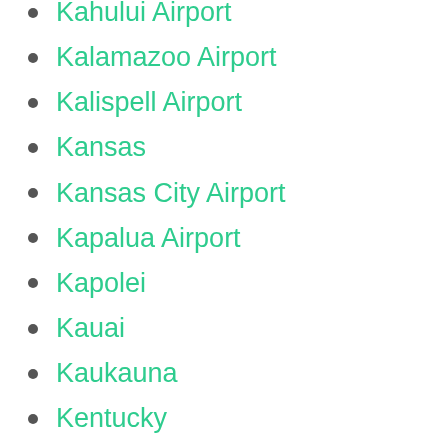Kahului Airport
Kalamazoo Airport
Kalispell Airport
Kansas
Kansas City Airport
Kapalua Airport
Kapolei
Kauai
Kaukauna
Kentucky
Kerrville
Key West
Key West Airport
Killeen Airport
King Of Prussia
Kissimmee